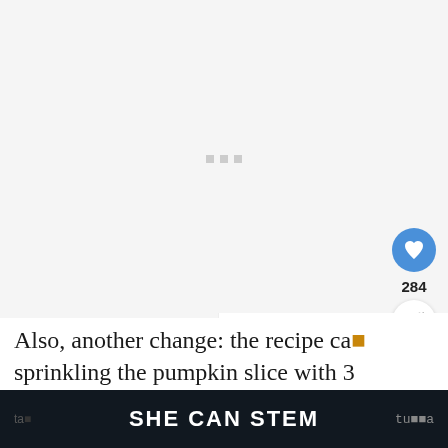[Figure (photo): Large image placeholder area with light gray background and three small gray loading squares centered in the middle]
284
Also, another change: the recipe ca… sprinkling the pumpkin slice with 3 ta… tu…a
WHAT'S NEXT → Pumpkin Potato Bake
SHE CAN STEM